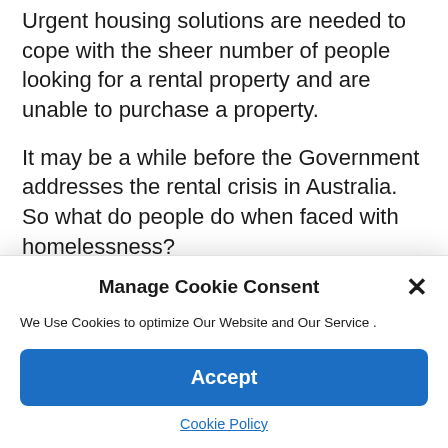Urgent housing solutions are needed to cope with the sheer number of people looking for a rental property and are unable to purchase a property.
It may be a while before the Government addresses the rental crisis in Australia. So what do people do when faced with homelessness?
Manage Cookie Consent
We Use Cookies to optimize Our Website and Our Service .
Accept
Cookie Policy